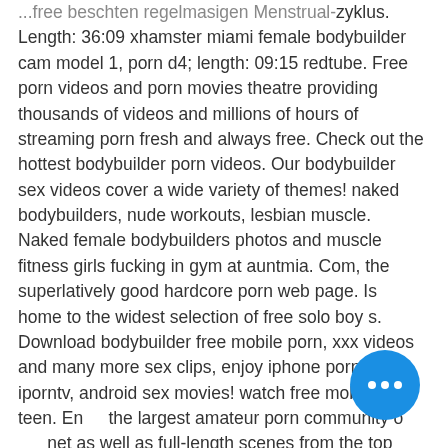...free beschten regelmasigen Menstrual-zyklus. Length: 36:09 xhamster miami female bodybuilder cam model 1, porn d4; length: 09:15 redtube. Free porn videos and porn movies theatre providing thousands of videos and millions of hours of streaming porn fresh and always free. Check out the hottest bodybuilder porn videos. Our bodybuilder sex videos cover a wide variety of themes! naked bodybuilders, nude workouts, lesbian muscle. Naked female bodybuilders photos and muscle fitness girls fucking in gym at auntmia. Com, the superlatively good hardcore porn web page. Is home to the widest selection of free solo boy s. Download bodybuilder free mobile porn, xxx videos and many more sex clips, enjoy iphone porn at iporntv, android sex movies! watch free mobile xxx teen. Enter the largest amateur porn community on the net as well as full-length scenes from the top